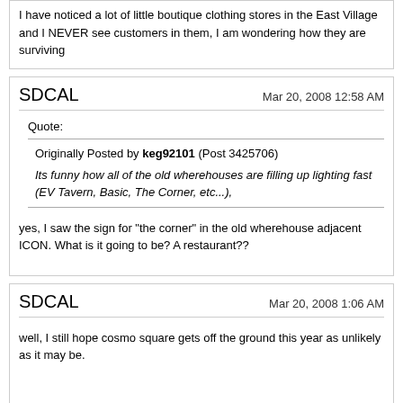I have noticed a lot of little boutique clothing stores in the East Village and I NEVER see customers in them, I am wondering how they are surviving
SDCAL
Mar 20, 2008 12:58 AM
Quote:
Originally Posted by keg92101 (Post 3425706) Its funny how all of the old wherehouses are filling up lighting fast (EV Tavern, Basic, The Corner, etc...),
yes, I saw the sign for "the corner" in the old wherehouse adjacent ICON. What is it going to be? A restaurant??
SDCAL
Mar 20, 2008 1:06 AM
well, I still hope cosmo square gets off the ground this year as unlikely as it may be.
Simplon sounds kind of desperate in that article - If they are going to be that persistent in the face of so many obstacles, maybe they should go all the way and propose a 600ft building, that would give a greater profit potential with more rooms and or condos on less land, and give the building automatic appeal and media attention as the tallest in the